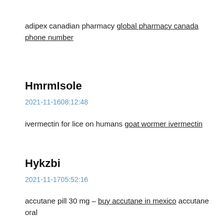adipex canadian pharmacy global pharmacy canada phone number
HmrmIsole
2021-11-1608:12:48
ivermectin for lice on humans goat wormer ivermectin
Hykzbi
2021-11-1705:52:16
accutane pill 30 mg – buy accutane in mexico accutane oral